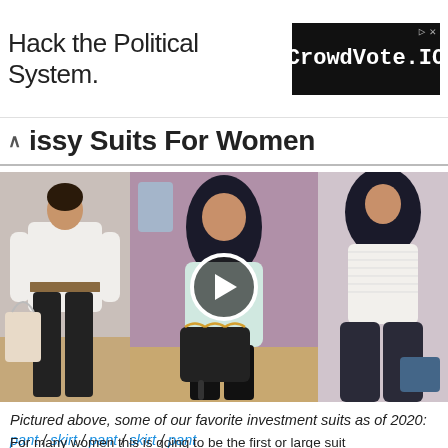[Figure (screenshot): Advertisement banner: 'Hack the Political System.' with CrowdVote.IO logo on black background]
issy Suits For Women
[Figure (photo): Three-panel photo of women in professional outfits including white blazer with belt, hijab with teal blouse and black handbag, and white ribbed top with wide-leg pants. A play button overlay is shown in the center.]
Pictured above, some of our favorite investment suits as of 2020: pant / skirt / pant / skirt / pant
For many women this is going to be the first or large suit